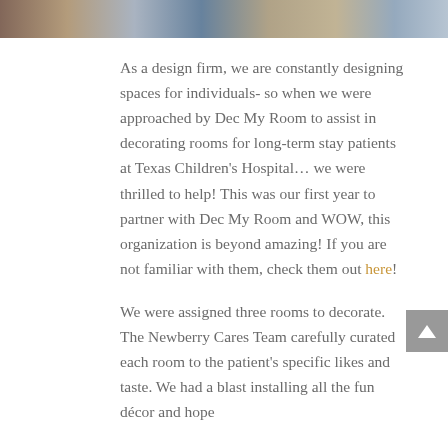[Figure (photo): A horizontal strip of photos at the top of the page, partially visible, showing people in various settings]
As a design firm, we are constantly designing spaces for individuals- so when we were approached by Dec My Room to assist in decorating rooms for long-term stay patients at Texas Children's Hospital… we were thrilled to help! This was our first year to partner with Dec My Room and WOW, this organization is beyond amazing! If you are not familiar with them, check them out here!
We were assigned three rooms to decorate. The Newberry Cares Team carefully curated each room to the patient's specific likes and taste. We had a blast installing all the fun décor and hope...